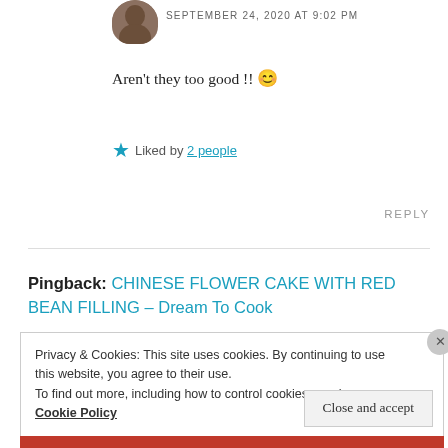SEPTEMBER 24, 2020 AT 9:02 PM
Aren't they too good !! 😊
★ Liked by 2 people
REPLY
Pingback: CHINESE FLOWER CAKE WITH RED BEAN FILLING – Dream To Cook
Privacy & Cookies: This site uses cookies. By continuing to use this website, you agree to their use.
To find out more, including how to control cookies, see here: Cookie Policy
Close and accept